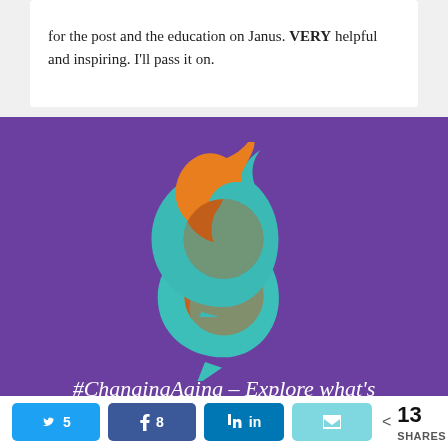for the post and the education on Janus. VERY helpful and inspiring. I'll pass it on.
[Figure (logo): ChangingAging logo — orange flame shape with teal speech bubble curl on purple background]
#ChangingAging – Explore what's
Twitter share button: 5, Facebook share button: 8, LinkedIn share button, Email share button, < 13 SHARES